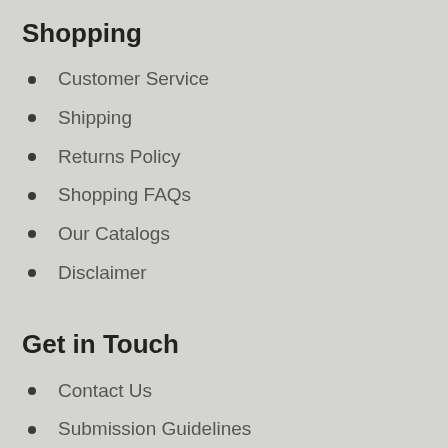Shopping
Customer Service
Shipping
Returns Policy
Shopping FAQs
Our Catalogs
Disclaimer
Get in Touch
Contact Us
Submission Guidelines
Desk and Exam Copy Requests